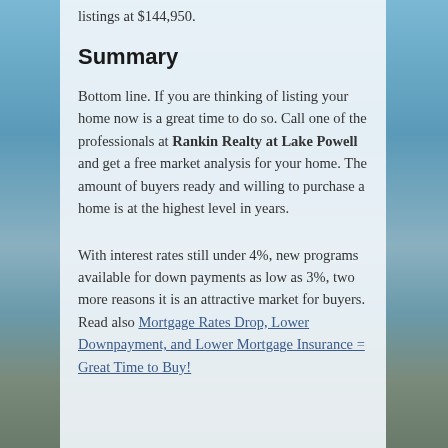listings at $144,950.
Summary
Bottom line. If you are thinking of listing your home now is a great time to do so. Call one of the professionals at Rankin Realty at Lake Powell and get a free market analysis for your home. The amount of buyers ready and willing to purchase a home is at the highest level in years.
With interest rates still under 4%, new programs available for down payments as low as 3%, two more reasons it is an attractive market for buyers. Read also Mortgage Rates Drop, Lower Downpayment, and Lower Mortgage Insurance = Great Time to Buy!